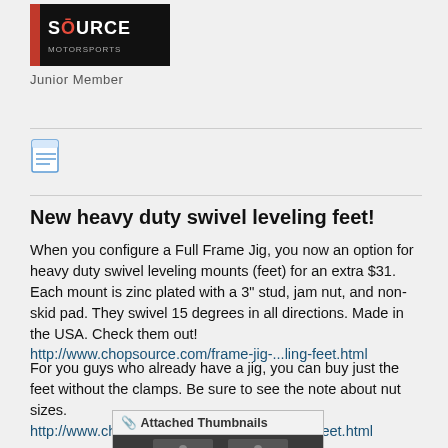[Figure (logo): ChopSource logo — white text on black background with red accent]
Junior Member
[Figure (illustration): Document/notepad icon (blue lines on white page)]
New heavy duty swivel leveling feet!
When you configure a Full Frame Jig, you now an option for heavy duty swivel leveling mounts (feet) for an extra $31. Each mount is zinc plated with a 3" stud, jam nut, and non-skid pad. They swivel 15 degrees in all directions. Made in the USA. Check them out!
http://www.chopsource.com/frame-jig-...ling-feet.html
For you guys who already have a jig, you can buy just the feet without the clamps. Be sure to see the note about nut sizes.
http://www.chopsource.com/swivel-lev...unts-feet.html
[Figure (photo): Attached Thumbnails section with a photo of leveling feet hardware on a metal surface]